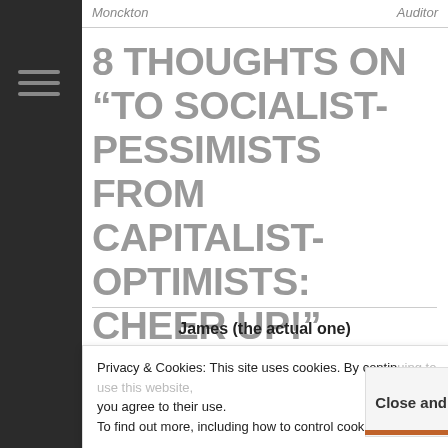Monckton | Auditor
8 THOUGHTS ON “TO SOCIALIST-PESSIMISTS FROM CAPITALIST-OPTIMISTS: CHEER UP!”
James (the actual one)
Privacy & Cookies: This site uses cookies. By continuing to use this website, you agree to their use. To find out more, including how to control cookies, see here: Close and accept